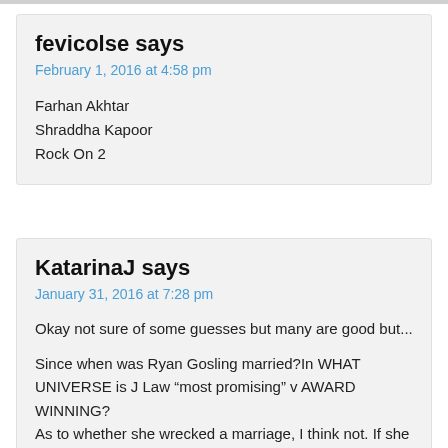fevicolse says
February 1, 2016 at 4:58 pm
Farhan Akhtar
Shraddha Kapoor
Rock On 2
KatarinaJ says
January 31, 2016 at 7:28 pm
Okay not sure of some guesses but many are good but...

Since when was Ryan Gosling married?In WHAT UNIVERSE is J Law “most promising” v AWARD WINNING?
As to whether she wrecked a marriage, I think not. If she went back to an ex, she knew the score. the masses can't ‘get’ what it is like to have a fling in Hollywood but where else would you